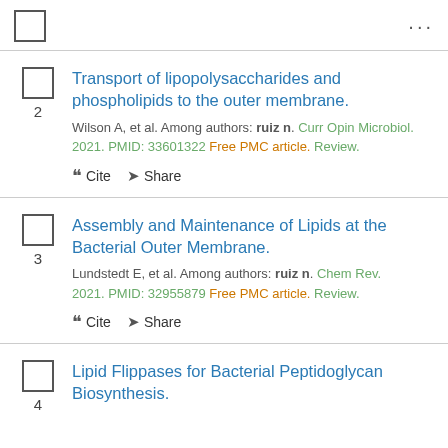Transport of lipopolysaccharides and phospholipids to the outer membrane.
Wilson A, et al. Among authors: ruiz n. Curr Opin Microbiol. 2021. PMID: 33601322 Free PMC article. Review.
Cite Share
Assembly and Maintenance of Lipids at the Bacterial Outer Membrane.
Lundstedt E, et al. Among authors: ruiz n. Chem Rev. 2021. PMID: 32955879 Free PMC article. Review.
Cite Share
Lipid Flippases for Bacterial Peptidoglycan Biosynthesis.